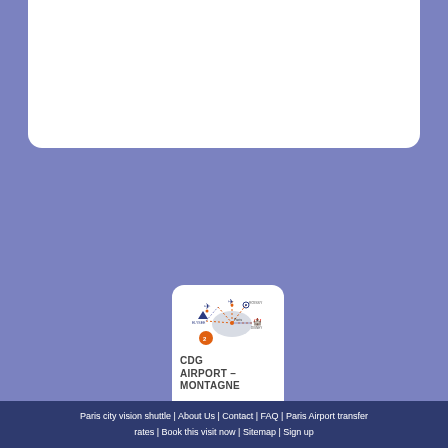[Figure (map): CDG Airport to Montagne route map showing connections between Paris CDG airport and various landmarks including Disneyland, with orange dashed route lines and blue icons for airports and attractions]
Paris city vision shuttle | About Us | Contact | FAQ | Paris Airport transfer rates | Book this visit now | Sitemap | Sign up